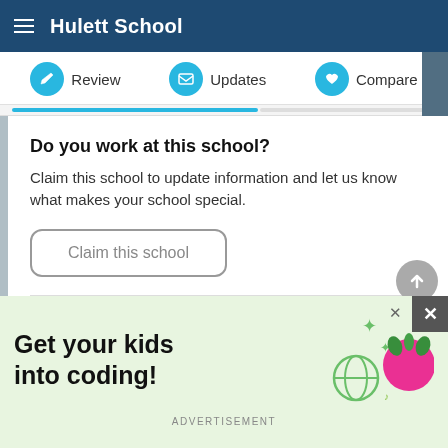Hulett School
Review   Updates   Compare
Do you work at this school?
Claim this school to update information and let us know what makes your school special.
Claim this school
Sources
[Figure (infographic): Advertisement banner with text 'Get your kids into coding!' with raspberry pi logo and decorative icons on light green background]
ADVERTISEMENT